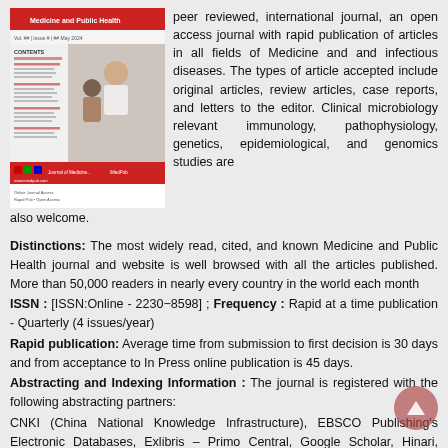[Figure (photo): Cover image of Medicine and Public Health journal showing a healthcare professional with a patient]
peer reviewed, international journal, an open access journal with rapid publication of articles in all fields of Medicine and and infectious diseases. The types of article accepted include original articles, review articles, case reports, and letters to the editor. Clinical microbiology relevant immunology, pathophysiology, genetics, epidemiological, and genomics studies are also welcome.
Distinctions: The most widely read, cited, and known Medicine and Public Health journal and website is well browsed with all the articles published. More than 50,000 readers in nearly every country in the world each month
ISSN : [ISSN:Online - 2230−8598] ; Frequency : Rapid at a time publication - Quarterly (4 issues/year)
Rapid publication: Average time from submission to first decision is 30 days and from acceptance to In Press online publication is 45 days.
Abstracting and Indexing Information : The journal is registered with the following abstracting partners:
CNKI (China National Knowledge Infrastructure), EBSCO Publishing's Electronic Databases, Exlibris – Primo Central, Google Scholar, Hinari, Infotrivea-based Guide National Science Library, CamelCate, PorQuest